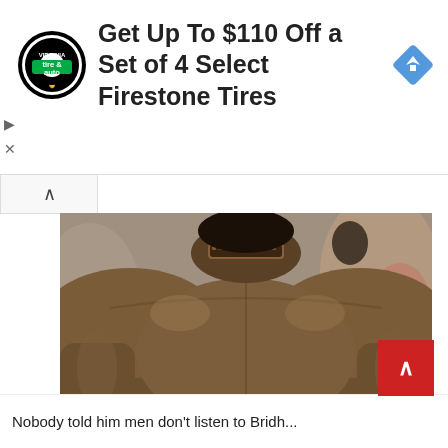[Figure (infographic): Advertisement banner: Tire & Auto logo (circular badge with green 'tire & auto' text), headline 'Get Up To $110 Off a Set of 4 Select Firestone Tires', and a blue diamond navigation arrow icon on the right. Small play and close controls on the left.]
[Figure (photo): Close-up photo of a man's back wearing a brown jacket/shirt, showing his upper back and neck. He has dark hair and a beard visible from behind. Blurred background.]
Nobody told him men don't listen to Bridh...